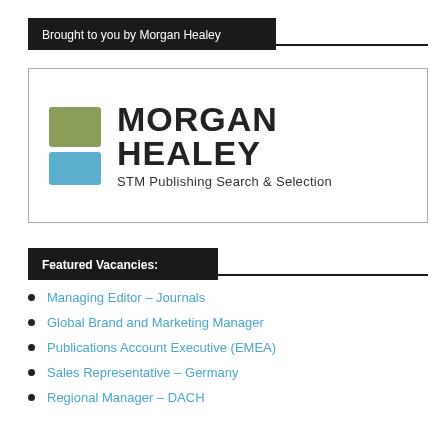Brought to you by Morgan Healey
[Figure (logo): Morgan Healey logo with green and blue rectangles, bold text 'MORGAN HEALEY' and subtitle 'STM Publishing Search & Selection']
Featured Vacancies:
Managing Editor – Journals
Global Brand and Marketing Manager
Publications Account Executive (EMEA)
Sales Representative – Germany
Regional Manager – DACH